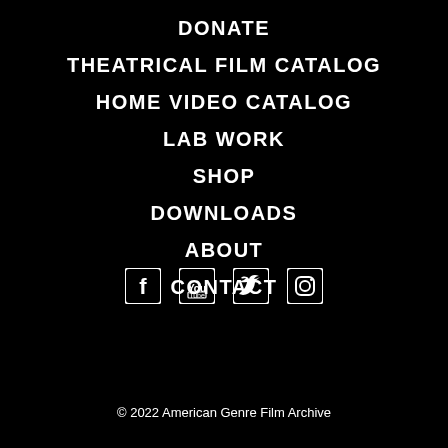DONATE
THEATRICAL FILM CATALOG
HOME VIDEO CATALOG
LAB WORK
SHOP
DOWNLOADS
ABOUT
CONTACT
[Figure (other): Four social media icons: Facebook, YouTube, Twitter, Instagram]
© 2022 American Genre Film Archive